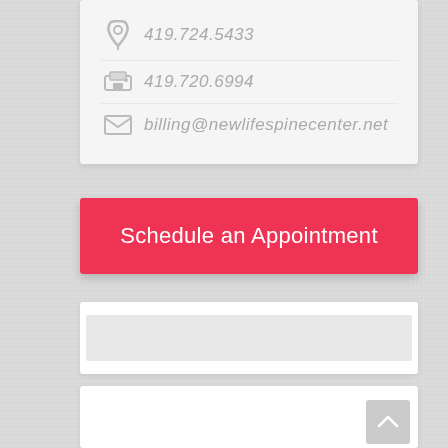419.724.5433
419.720.6994
billing@newlifespinecenter.net
Schedule an Appointment
[Figure (screenshot): Empty text input field]
[Figure (screenshot): Empty textarea field with scroll-to-top button]